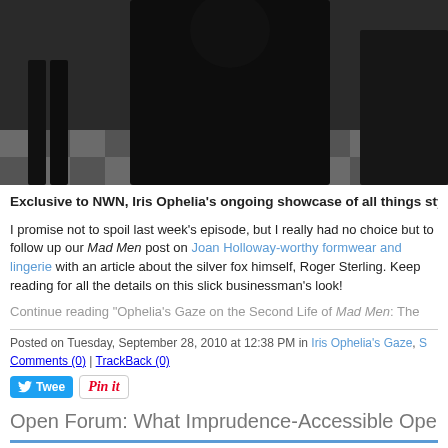[Figure (photo): Dark-toned photo of figures in black clothing on a checkered floor background]
Exclusive to NWN, Iris Ophelia's ongoing showcase of all things stylish
I promise not to spoil last week's episode, but I really had no choice but to follow up our Mad Men post on Joan Holloway-worthy formwear and lingerie with an article about the silver fox himself, Roger Sterling. Keep reading for all the details on this slick businessman's look!
Continue reading "Ophelia's Gaze on the Second Life of Mad Men: The
Posted on Tuesday, September 28, 2010 at 12:38 PM in Iris Ophelia's Gaze, S
Comments (0) | TrackBack (0)
[Figure (screenshot): Tweet button and Pin it button social sharing widgets]
Open Forum: What Imprudence-Accessible OpenSim E Cover This Week?